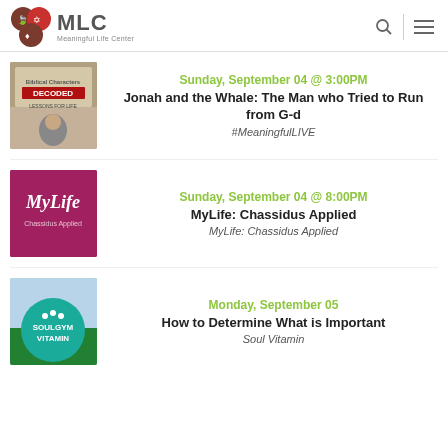MLC Meaningful Life Center
Sunday, September 04 @ 3:00PM
Jonah and the Whale: The Man who Tried to Run from G-d
#MeaningfulLIVE
Sunday, September 04 @ 8:00PM
MyLife: Chassidus Applied
MyLife: Chassidus Applied
Monday, September 05
How to Determine What is Important
Soul Vitamin